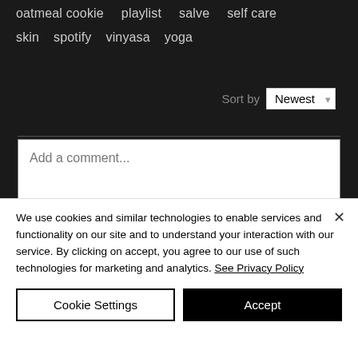oatmeal cookie   playlist   salve   self care
skin   spotify   vinyasa   yoga
Sort by  Newest
[Figure (screenshot): Comment text input box with placeholder text 'Add a comment...']
Facebook Comments Plugin
We use cookies and similar technologies to enable services and functionality on our site and to understand your interaction with our service. By clicking on accept, you agree to our use of such technologies for marketing and analytics. See Privacy Policy
Cookie Settings
Accept